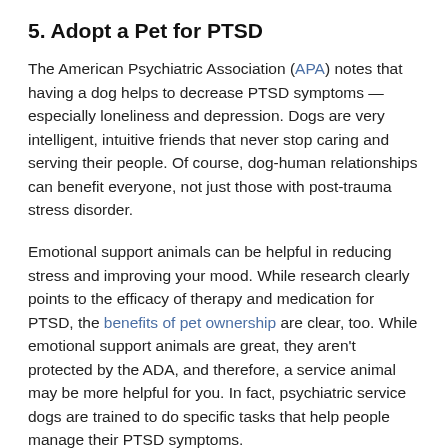5. Adopt a Pet for PTSD
The American Psychiatric Association (APA) notes that having a dog helps to decrease PTSD symptoms — especially loneliness and depression. Dogs are very intelligent, intuitive friends that never stop caring and serving their people. Of course, dog-human relationships can benefit everyone, not just those with post-trauma stress disorder.
Emotional support animals can be helpful in reducing stress and improving your mood. While research clearly points to the efficacy of therapy and medication for PTSD, the benefits of pet ownership are clear, too. While emotional support animals are great, they aren't protected by the ADA, and therefore, a service animal may be more helpful for you. In fact, psychiatric service dogs are trained to do specific tasks that help people manage their PTSD symptoms.